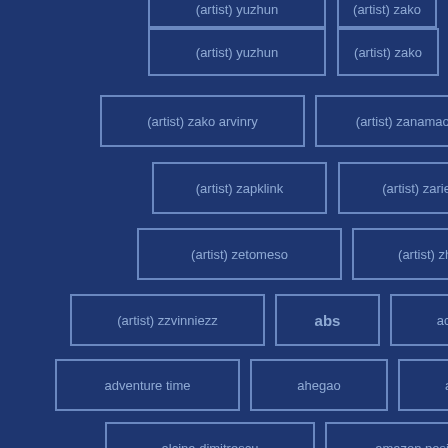(artist) yuzhun
(artist) zako
(artist) zako arvinry
(artist) zanamaoria
(artist) zapklink
(artist) zarietu
(artist) zetomeso
(artist) zheng
(artist) zzvinniezz
abs
ace attorney
adventure time
ahegao
ahsoka tano
alcina dimitrescu
amazon position
american dad
among us
anal
anal gaping
android 18
angel